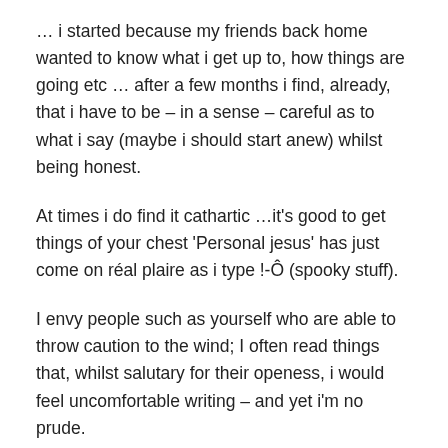… i started because my friends back home wanted to know what i get up to, how things are going etc … after a few months i find, already, that i have to be – in a sense – careful as to what i say (maybe i should start anew) whilst being honest.
At times i do find it cathartic …it's good to get things of your chest 'Personal jesus' has just come on réal plaire as i type !-Ô (spooky stuff).
I envy people such as yourself who are able to throw caution to the wind; I often read things that, whilst salutary for their openess, i would feel uncomfortable writing – and yet i'm no prude.